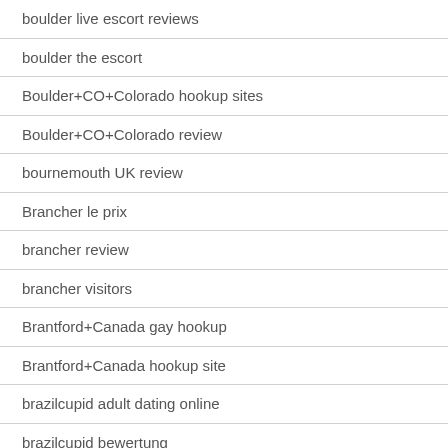boulder live escort reviews
boulder the escort
Boulder+CO+Colorado hookup sites
Boulder+CO+Colorado review
bournemouth UK review
Brancher le prix
brancher review
brancher visitors
Brantford+Canada gay hookup
Brantford+Canada hookup site
brazilcupid adult dating online
brazilcupid bewertung